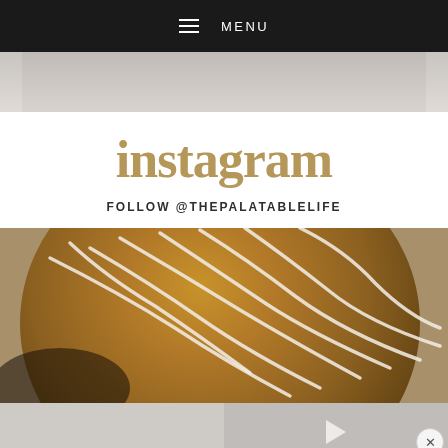MENU
[Figure (photo): Partial photo visible at top, light gray/beige background, cropped]
instagram
FOLLOW @THEPALATABLELIFE
[Figure (photo): Close-up photo of a large cookie drizzled with white icing/glaze on parchment paper]
[Figure (photo): Two partial photos at bottom: left shows a light-colored baked item, right shows another item with a video play button overlay]